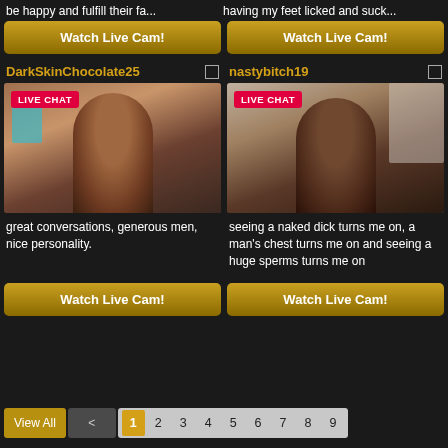be happy and fulfill their fa...
having my feet licked and suck...
Watch Live Cam!
Watch Live Cam!
DarkSkinChocolate25
nastybitch19
[Figure (photo): Live cam thumbnail of DarkSkinChocolate25 with LIVE CHAT badge]
[Figure (photo): Live cam thumbnail of nastybitch19 with LIVE CHAT badge]
great conversations, generous men, nice personality.
seeing a naked dick turns me on, a man's chest turns me on and seeing a huge sperms turns me on
Watch Live Cam!
Watch Live Cam!
View All  <  1  2  3  4  5  6  7  8  9